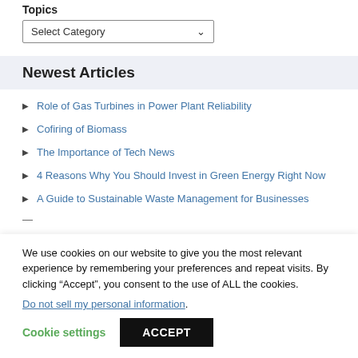Topics
Select Category
Newest Articles
Role of Gas Turbines in Power Plant Reliability
Cofiring of Biomass
The Importance of Tech News
4 Reasons Why You Should Invest in Green Energy Right Now
A Guide to Sustainable Waste Management for Businesses
We use cookies on our website to give you the most relevant experience by remembering your preferences and repeat visits. By clicking “Accept”, you consent to the use of ALL the cookies. Do not sell my personal information.
Cookie settings  ACCEPT